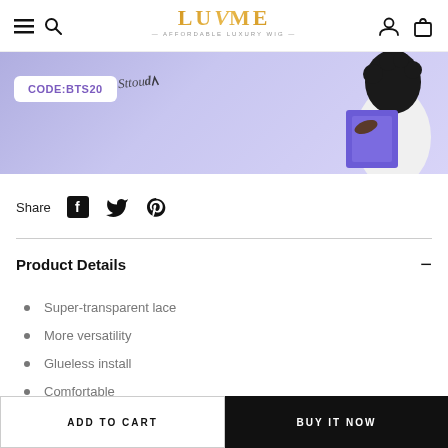LUVME — AFFORDABLE LUXURY WIG
[Figure (photo): Promotional banner with purple background showing a person with curly hair wearing white outfit holding a purple book/folder, with a white box showing CODE:BTS20 and a signature]
Share
Product Details
Super-transparent lace
More versatility
Glueless install
Comfortable
ADD TO CART
BUY IT NOW